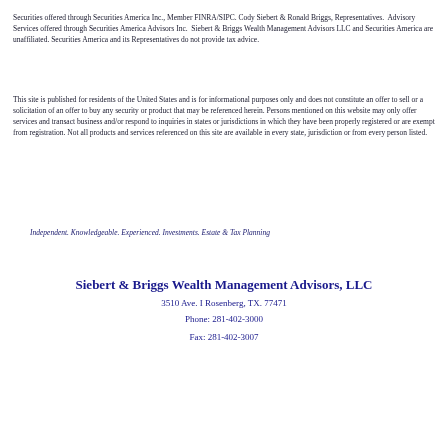Securities offered through Securities America Inc., Member FINRA/SIPC. Cody Siebert & Ronald Briggs, Representatives.  Advisory Services offered through Securities America Advisors Inc.  Siebert & Briggs Wealth Management Advisors LLC and Securities America are unaffiliated. Securities America and its Representatives do not provide tax advice.
This site is published for residents of the United States and is for informational purposes only and does not constitute an offer to sell or a solicitation of an offer to buy any security or product that may be referenced herein. Persons mentioned on this website may only offer services and transact business and/or respond to inquiries in states or jurisdictions in which they have been properly registered or are exempt from registration. Not all products and services referenced on this site are available in every state, jurisdiction or from every person listed.
Independent. Knowledgeable. Experienced. Investments. Estate & Tax Planning
Siebert & Briggs Wealth Management Advisors, LLC
3510 Ave. I Rosenberg, TX. 77471
Phone: 281-402-3000
Fax: 281-402-3007